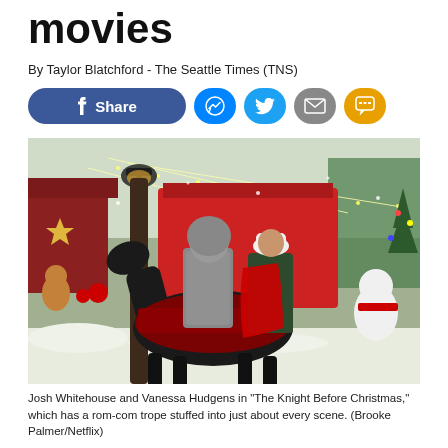movies
By Taylor Blatchford - The Seattle Times (TNS)
[Figure (other): Social media sharing buttons: Facebook Share, Messenger, Twitter, Email, SMS]
[Figure (photo): Josh Whitehouse and Vanessa Hudgens on horseback in a Christmas-decorated outdoor scene from 'The Knight Before Christmas' (Netflix). Man in chainmail armor on a black horse, woman in red cape behind him, surrounded by Christmas lights, decorations, and festive characters.]
Josh Whitehouse and Vanessa Hudgens in "The Knight Before Christmas," which has a rom-com trope stuffed into just about every scene. (Brooke Palmer/Netflix)